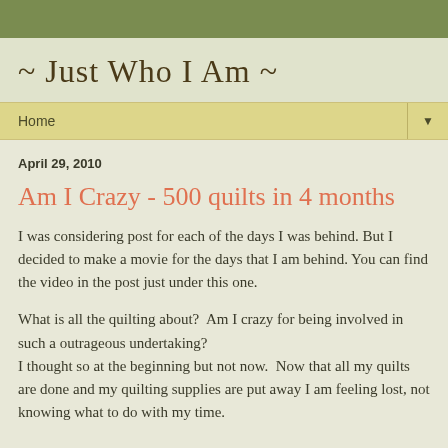~ Just Who I Am ~
Home
April 29, 2010
Am I Crazy - 500 quilts in 4 months
I was considering post for each of the days I was behind. But I decided to make a movie for the days that I am behind. You can find the video in the post just under this one.
What is all the quilting about?  Am I crazy for being involved in such a outrageous undertaking?
I thought so at the beginning but not now.  Now that all my quilts are done and my quilting supplies are put away I am feeling lost, not knowing what to do with my time.